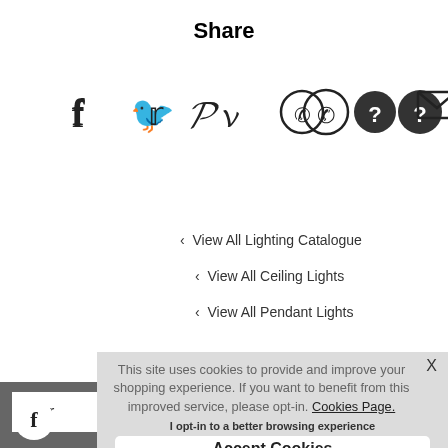Share
[Figure (infographic): Social sharing icons: Facebook, Twitter, Pinterest, WhatsApp, unknown (question mark), Email]
View All Lighting Catalogue
View All Ceiling Lights
View All Pendant Lights
[Figure (screenshot): Cookie consent popup overlay with text: This site uses cookies to provide and improve your shopping experience. If you want to benefit from this improved service, please opt-in. Cookies Page. I opt-in to a better browsing experience. Accept Cookies button. Background shows partial website with dark bar, Your [text], To see how, and a Facebook circle icon.]